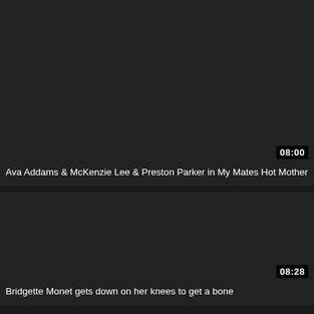[Figure (screenshot): Dark video thumbnail placeholder for first video, showing a dark/black preview area]
08:00
Ava Addams & McKenzie Lee & Preston Parker in My Mates Hot Mother
[Figure (screenshot): Dark video thumbnail placeholder for second video, showing a dark/black preview area]
08:28
Bridgette Monet gets down on her knees to get a bone